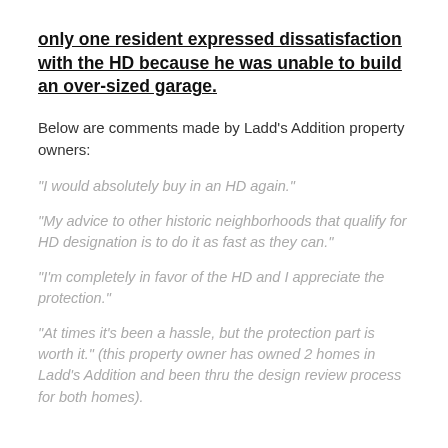only one resident expressed dissatisfaction with the HD because he was unable to build an over-sized garage.
Below are comments made by Ladd's Addition property owners:
“I would absolutely buy in an HD again.”
“My advice to other historic neighborhoods that qualify for HD designation is to do it as fast as they can.”
“I’m completely in favor of the HD and I appreciate the protection.”
“At times it’s been a hassle, but the protection part is worth it.” (this property owner has owned 2 homes in Ladd’s Addition and been thru the design review process for both homes).